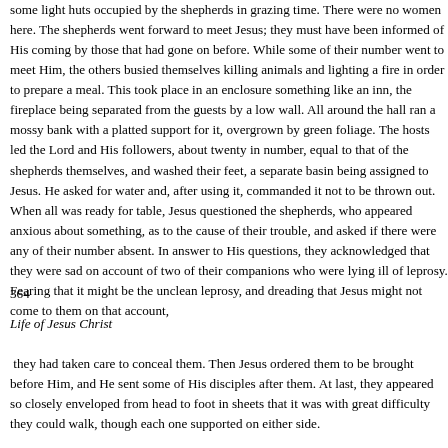some light huts occupied by the shepherds in grazing time. There were no women here. The shepherds went forward to meet Jesus; they must have been informed of His coming by those that had gone on before. While some of their number went to meet Him, the others busied themselves killing animals and lighting a fire in order to prepare a meal. This took place in an enclosure something like an inn, the fireplace being separated from the guests by a low wall. All around the hall ran a mossy bank with a platted support for it, overgrown by green foliage. The hosts led the Lord and His followers, about twenty in number, equal to that of the shepherds themselves, and washed their feet, a separate basin being assigned to Jesus. He asked for water and, after using it, commanded it not to be thrown out. When all was ready for table, Jesus questioned the shepherds, who appeared anxious about something, as to the cause of their trouble, and asked if there were any of their number absent. In answer to His questions, they acknowledged that they were sad on account of two of their companions who were lying ill of leprosy. Fearing that it might be the unclean leprosy, and dreading that Jesus might not come to them on that account,
364
Life of Jesus Christ
they had taken care to conceal them. Then Jesus ordered them to be brought before Him, and He sent some of His disciples after them. At last, they appeared so closely enveloped from head to foot in sheets that it was with great difficulty they could walk, though each one supported on either side.